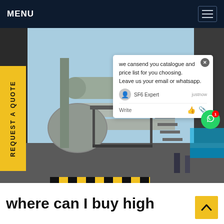MENU
[Figure (photo): Industrial equipment scene: workers in hard hats on scaffolding/platforms around large grey industrial pipes and machinery (likely SF6 gas insulated switchgear or transformer equipment) at an outdoor industrial facility]
REQUEST A QUOTE
we cansend you catalogue and price list for you choosing. Leave us your email or whatsapp.
SF6 Expert   justnow
Write
where can I buy high